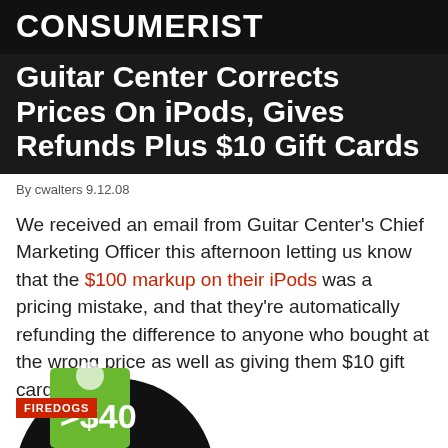CONSUMERIST
Guitar Center Corrects Prices On iPods, Gives Refunds Plus $10 Gift Cards
By cwalters 9.12.08
We received an email from Guitar Center's Chief Marketing Officer this afternoon letting us know that the $100 markup on their iPods was a pricing mistake, and that they're automatically refunding the difference to anyone who bought at the wrong price as well as giving them $10 gift cards.
[Figure (photo): Firedogs advertisement image showing a person in green with text '>$40' and a red FIREDOGS badge]